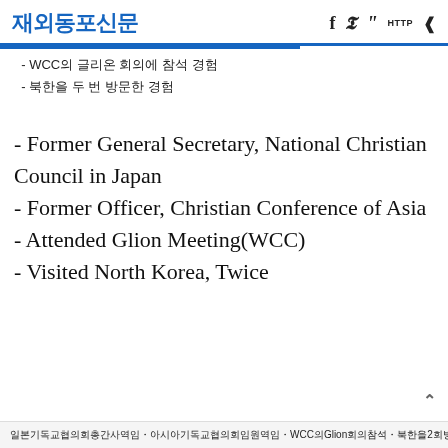재외동포신문
- WCC의 글리온 회의에 참석 경험
- 북한을 두 번 방문한 경험
- Former General Secretary, National Christian Council in Japan
- Former Officer, Christian Conference of Asia
- Attended Glion Meeting(WCC)
- Visited North Korea, Twice
일본기독교협의회총간사역임・아시아기독교협의회임원역임・WCC의Glion회의참석・북한을2회방문한경험